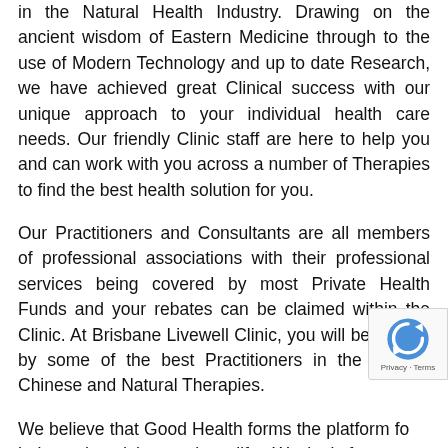in the Natural Health Industry. Drawing on the ancient wisdom of Eastern Medicine through to the use of Modern Technology and up to date Research, we have achieved great Clinical success with our unique approach to your individual health care needs. Our friendly Clinic staff are here to help you and can work with you across a number of Therapies to find the best health solution for you.
Our Practitioners and Consultants are all members of professional associations with their professional services being covered by most Private Health Funds and your rebates can be claimed within the Clinic. At Brisbane Livewell Clinic, you will be treated by some of the best Practitioners in the field of Chinese and Natural Therapies.
We believe that Good Health forms the platform for a balanced and harmonious life. We look forward to supporting you with every step towards a healthier and